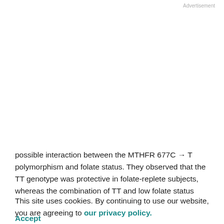Advertisement
possible interaction between the MTHFR 677C → T polymorphism and folate status. They observed that the TT genotype was protective in folate-replete subjects, whereas the combination of TT and low folate status conferred no protection, or even increased risk (31). The finding of decreased risk for MTHFR TT combined with high folate status was repeated in some (5, 6) but not in all subsequent reports (7, 12, 32). No study has shown a significant effect modification by folate levels of the association between 677C → T MTHFR polymorphism and colorectal cancer risk. We had no data on folate
This site uses cookies. By continuing to use our website, you are agreeing to our privacy policy. Accept